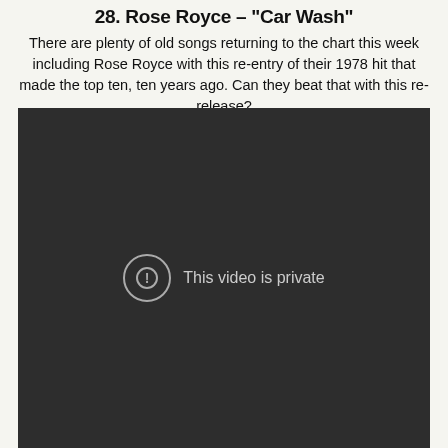28. Rose Royce – "Car Wash"
There are plenty of old songs returning to the chart this week including Rose Royce with this re-entry of their 1978 hit that made the top ten, ten years ago. Can they beat that with this re-release?
[Figure (screenshot): Embedded video player showing a dark/black background with a circle exclamation mark icon and the text 'This video is private']